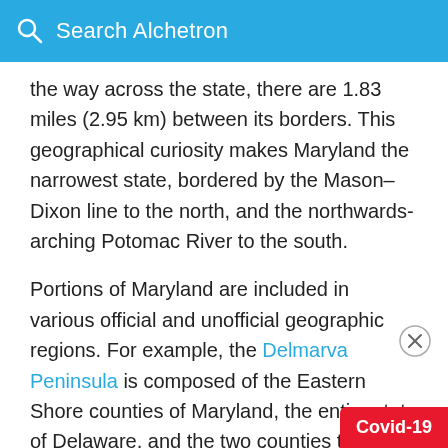Search Alchetron
the way across the state, there are 1.83 miles (2.95 km) between its borders. This geographical curiosity makes Maryland the narrowest state, bordered by the Mason–Dixon line to the north, and the northwards-arching Potomac River to the south.
Portions of Maryland are included in various official and unofficial geographic regions. For example, the Delmarva Peninsula is composed of the Eastern Shore counties of Maryland, the entire state of Delaware, and the two counties that make up the Eastern Shore of Virginia, whereas the westernmost counties of Maryland are considered part of Appalachia. Much of the Baltimore